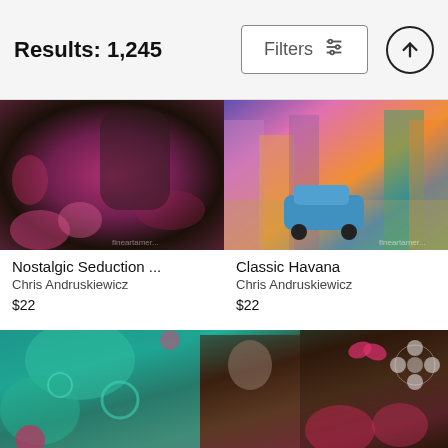Results: 1,245
[Figure (screenshot): Filters button with sliders icon and up-arrow circle button in header]
[Figure (photo): Nostalgic Seduction art - vintage woman with floral decorative pink/dark background]
Nostalgic Seduction ...
Chris Andruskiewicz
$22
[Figure (photo): Classic Havana art - colorful Cuban street scene with vintage car and vibrant painted buildings]
Classic Havana
Chris Andruskiewicz
$22
[Figure (photo): Large bottom image - paisley pattern art with vintage nude woman figure]